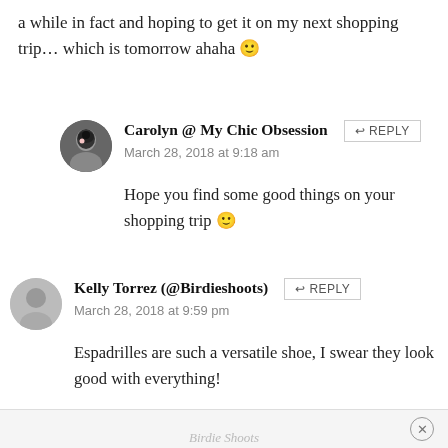a while in fact and hoping to get it on my next shopping trip… which is tomorrow ahaha 😊
Carolyn @ My Chic Obsession
March 28, 2018 at 9:18 am
Hope you find some good things on your shopping trip 🙂
Kelly Torrez (@Birdieshoots)
March 28, 2018 at 9:59 pm
Espadrilles are such a versatile shoe, I swear they look good with everything!
Birdie Shoots